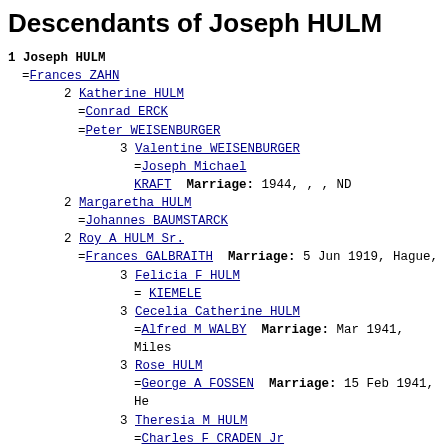Descendants of Joseph HULM
1 Joseph HULM
=Frances ZAHN
2 Katherine HULM
=Conrad ERCK
=Peter WEISENBURGER
3 Valentine WEISENBURGER
=Joseph Michael KRAFT  Marriage: 1944, , , ND
2 Margaretha HULM
=Johannes BAUMSTARCK
2 Roy A HULM Sr.
=Frances GALBRAITH  Marriage: 5 Jun 1919, Hague,
3 Felicia F HULM
= KIEMELE
3 Cecelia Catherine HULM
=Alfred M WALBY  Marriage: Mar 1941, Miles
3 Rose HULM
=George A FOSSEN  Marriage: 15 Feb 1941, He
3 Theresia M HULM
=Charles F CRADEN Jr
3 Roy HULM Jr
=Mary J
3 Leo Joseph HULM
3 John M HULM
3 Patricia Ann HULM
= KAUTZMAN
=Henry J HOFFMAN  Marriage: 7 May 1952, Bis